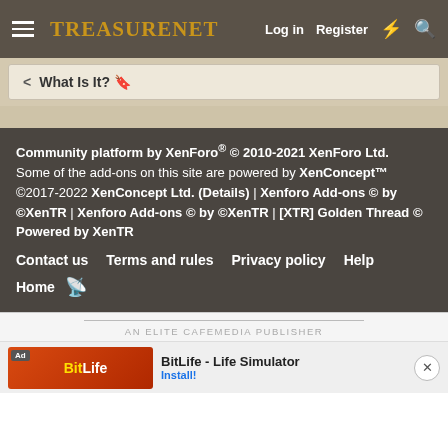TreasureNet — Log in | Register
< What Is It? 🔖
Community platform by XenForo® © 2010-2021 XenForo Ltd. Some of the add-ons on this site are powered by XenConcept™ ©2017-2022 XenConcept Ltd. (Details) | Xenforo Add-ons © by ©XenTR | Xenforo Add-ons © by ©XenTR | [XTR] Golden Thread © Powered by XenTR
Contact us | Terms and rules | Privacy policy | Help
Home
AN ELITE CAFEMEDIA PUBLISHER
[Figure (screenshot): Ad banner for BitLife - Life Simulator app with Install! button]